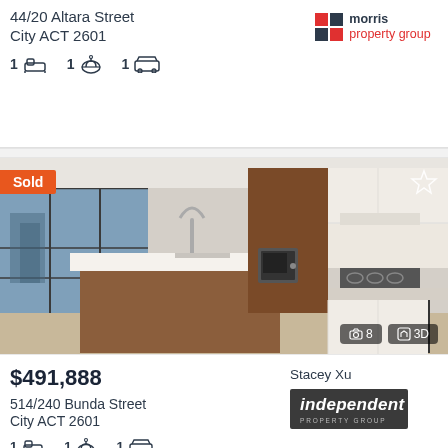44/20 Altara Street
City ACT 2601
1 bed 1 bath 1 garage
[Figure (photo): Modern apartment kitchen with white cabinetry, wood island bench, floor-to-ceiling windows showing city view, stainless steel appliances]
Sold
8 photos, 3D tour
$491,888
514/240 Bunda Street
City ACT 2601
1 bed 1 bath 1 garage
Stacey Xu
[Figure (logo): Independent Property Group logo - dark grey background with italic white text]